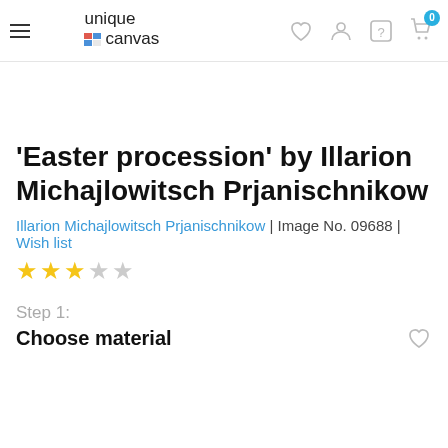unique canvas — navigation bar with hamburger menu, logo, and icons (heart, user, help, cart with badge 0)
'Easter procession' by Illarion Michajlowitsch Prjanischnikow
Illarion Michajlowitsch Prjanischnikow | Image No. 09688 | Wish list
★★★☆☆ (3 out of 5 stars)
Step 1:
Choose material